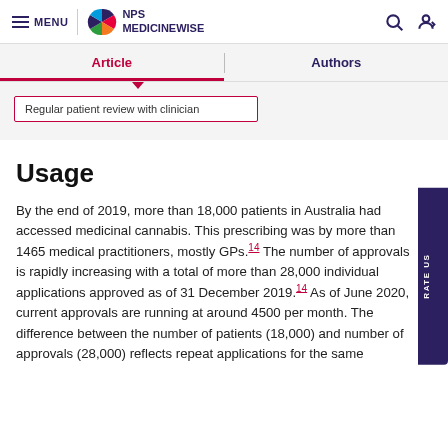MENU | NPS MEDICINEWISE
Article | Authors
Regular patient review with clinician
Usage
By the end of 2019, more than 18,000 patients in Australia had accessed medicinal cannabis. This prescribing was by more than 1465 medical practitioners, mostly GPs.14 The number of approvals is rapidly increasing with a total of more than 28,000 individual applications approved as of 31 December 2019.14 As of June 2020, current approvals are running at around 4500 per month. The difference between the number of patients (18,000) and number of approvals (28,000) reflects repeat applications for the same